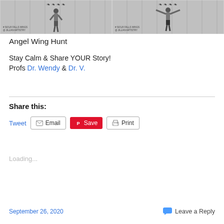[Figure (photo): Two black-and-white photos side by side showing people posing with arms outstretched against a white fence/wall background, with watermark text '#SIOUX FALLS WINGS @ JILLIAN ARTISTRY']
Angel Wing Hunt
Stay Calm & Share YOUR Story!
Profs Dr. Wendy & Dr. V.
Share this:
Tweet  Email  Save  Print
Loading...
September 26, 2020    Leave a Reply